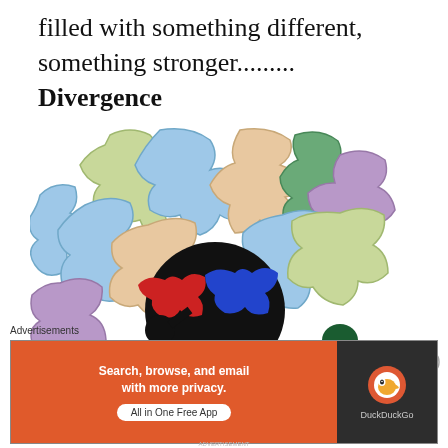filled with something different, something stronger......... Divergence
[Figure (illustration): A colorful jigsaw puzzle map overlaid with a black silhouette figure holding puzzle pieces (red and blue), with smaller figure in background. Puzzle pieces in colors: light blue, tan/beige, olive green, purple, dark green.]
Advertisements
[Figure (screenshot): DuckDuckGo advertisement banner: orange background left side with text 'Search, browse, and email with more privacy. All in One Free App', dark right side with DuckDuckGo duck logo and text 'DuckDuckGo']